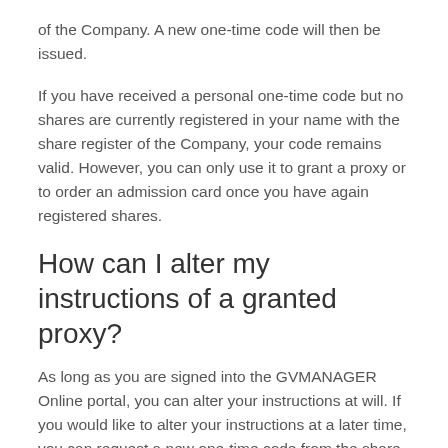of the Company. A new one-time code will then be issued.
If you have received a personal one-time code but no shares are currently registered in your name with the share register of the Company, your code remains valid. However, you can only use it to grant a proxy or to order an admission card once you have again registered shares.
How can I alter my instructions of a granted proxy?
As long as you are signed into the GVMANAGER Online portal, you can alter your instructions at will. If you would like to alter your instructions at a later time, you can request a new one-time code from the share register of the Company. You can find the contact details in the